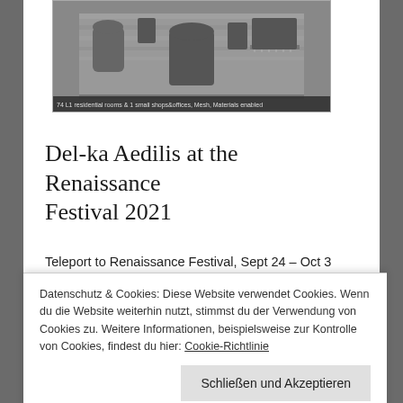[Figure (photo): Black and white photograph of a stone Renaissance-style building with arched windows and balcony. Caption reads: 74 L1 residential rooms & 1 small shops&offices, Mesh, Materials enabled]
Del-ka Aedilis at the Renaissance Festival 2021
Teleport to Renaissance Festival, Sept 24 – Oct 3 New & exclusive, 50% Donation Items for Strides against Breast Cancer Beautiful textures inside, have a look at the Demo House at our Renaissance Area at the Mainstore New & exclusive, 100%
Datenschutz & Cookies: Diese Website verwendet Cookies. Wenn du die Website weiterhin nutzt, stimmst du der Verwendung von Cookies zu. Weitere Informationen, beispielsweise zur Kontrolle von Cookies, findest du hier: Cookie-Richtlinie
Schließen und Akzeptieren